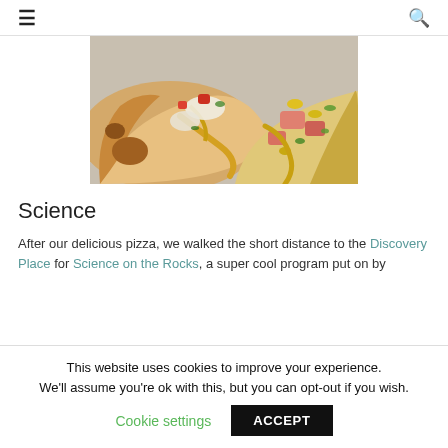≡  🔍
[Figure (photo): Close-up photo of two pizza slices with toppings including tomatoes, peppers, vegetables, and yellow sauce on a plate]
Science
After our delicious pizza, we walked the short distance to the Discovery Place for Science on the Rocks, a super cool program put on by
This website uses cookies to improve your experience. We'll assume you're ok with this, but you can opt-out if you wish. Cookie settings  ACCEPT